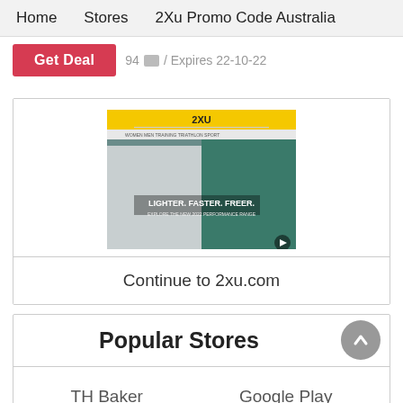Home    Stores    2Xu Promo Code Australia
Get Deal   94  / Expires 22-10-22
[Figure (screenshot): Screenshot of 2xu.com website showing two people in athletic/outdoor jackets with text overlay]
Continue to 2xu.com
Popular Stores
TH Baker    Google Play